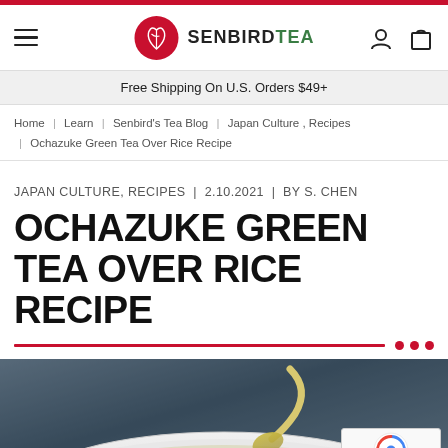SENBIRD TEA — website header with hamburger menu, logo, account and cart icons
Free Shipping On U.S. Orders $49+
Home | Learn | Senbird's Tea Blog | Japan Culture , Recipes | Ochazuke Green Tea Over Rice Recipe
JAPAN CULTURE, RECIPES  |  2.10.2021  |  BY S. CHEN
OCHAZUKE GREEN TEA OVER RICE RECIPE
[Figure (photo): Photo of green tea being poured from a ladle into a white bowl, seen from above, on a dark blue-grey background.]